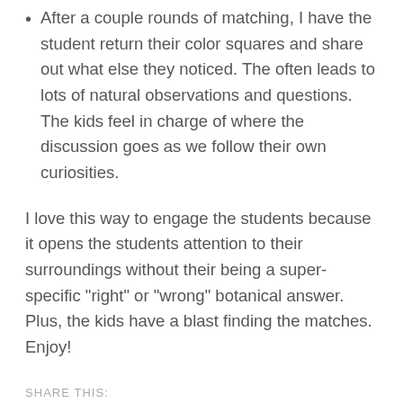After a couple rounds of matching, I have the student return their color squares and share out what else they noticed. The often leads to lots of natural observations and questions. The kids feel in charge of where the discussion goes as we follow their own curiosities.
I love this way to engage the students because it opens the students attention to their surroundings without their being a super-specific “right” or “wrong” botanical answer. Plus, the kids have a blast finding the matches. Enjoy!
SHARE THIS: